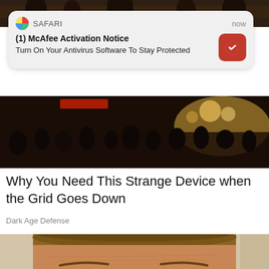[Figure (screenshot): Top partial photo strip showing a dark scene]
[Figure (screenshot): Safari browser push notification from McAfee: '(1) McAfee Activation Notice — Turn On Your Antivirus Software To Stay Protected', with McAfee red logo icon and timestamp 'now']
[Figure (photo): Wide photo of a crowded indoor venue with warm overhead lighting]
Why You Need This Strange Device when the Grid Goes Down
Dark Age Defense
[Figure (photo): Close-up photo of a man's face with wide-open eyes looking directly at camera, light brown hair, surprised expression]